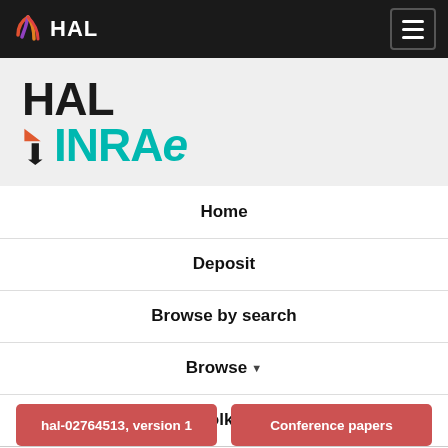HAL
[Figure (logo): HAL INRAE logo with teal INRAE text and arrow icons]
Home
Deposit
Browse by search
Browse
Toolkit
hal-02764513, version 1
Conference papers